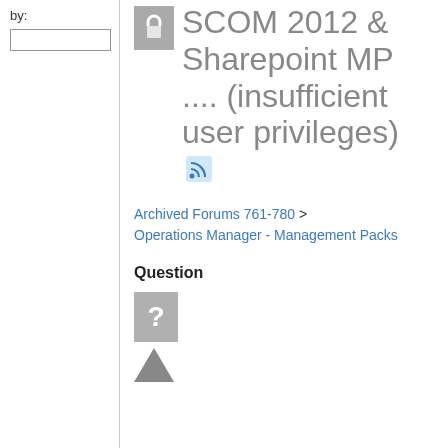by:
[Figure (screenshot): Search input box (empty text field)]
SCOM 2012 & Sharepoint MP .... (insufficient user privileges)
Archived Forums 761-780 > Operations Manager - Management Packs
Question
[Figure (other): Question mark icon (grey box with white ?) and upvote triangle arrow]